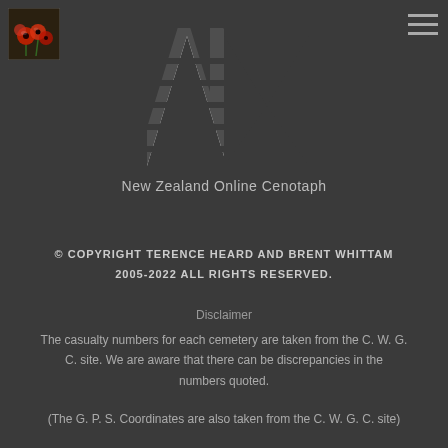[Figure (logo): Red poppies photo logo in top left corner]
[Figure (logo): Three horizontal lines hamburger menu icon in top right corner]
[Figure (logo): Large stylized AM text logo in white with horizontal stripe pattern]
New Zealand Online Cenotaph
© COPYRIGHT TERENCE HEARD AND BRENT WHITTAM 2005-2022 ALL RIGHTS RESERVED.
Disclaimer
The casualty numbers for each cemetery are taken from the C. W. G. C. site. We are aware that there can be discrepancies in the numbers quoted.
(The G. P. S. Coordinates are also taken from the C. W. G. C. site)